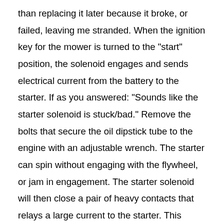than replacing it later because it broke, or failed, leaving me stranded. When the ignition key for the mower is turned to the "start" position, the solenoid engages and sends electrical current from the battery to the starter. If as you answered: "Sounds like the starter solenoid is stuck/bad." Remove the bolts that secure the oil dipstick tube to the engine with an adjustable wrench. The starter can spin without engaging with the flywheel, or jam in engagement. The starter solenoid will then close a pair of heavy contacts that relays a large current to the starter. This makes it an absolutely crucial part of a working vehicle or any other project that requires power from a battery to a starter. Remove the battery strap (only from